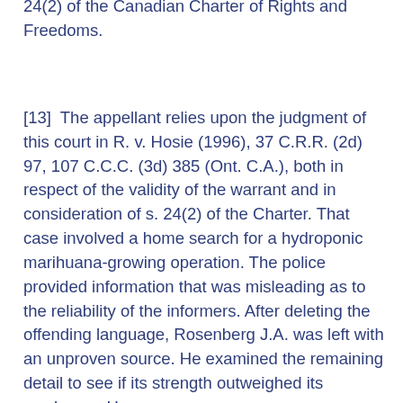24(2) of the Canadian Charter of Rights and Freedoms.
[13]  The appellant relies upon the judgment of this court in R. v. Hosie (1996), 37 C.R.R. (2d) 97, 107 C.C.C. (3d) 385 (Ont. C.A.), both in respect of the validity of the warrant and in consideration of s. 24(2) of the Charter. That case involved a home search for a hydroponic marihuana-growing operation. The police provided information that was misleading as to the reliability of the informers. After deleting the offending language, Rosenberg J.A. was left with an unproven source. He examined the remaining detail to see if its strength outweighed its weakness. He